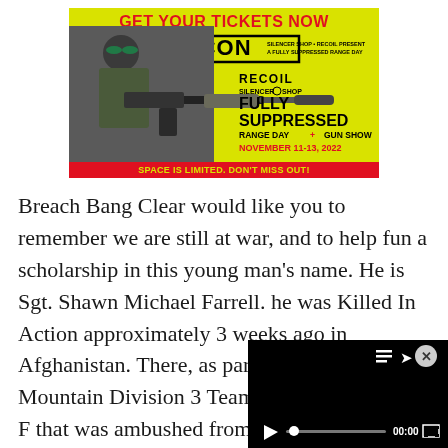[Figure (photo): Advertisement for CANCON - Fully Suppressed Range Day + Gun Show, November 11-13, 2022. Yellow background with man holding suppressed rifle. Text: GET YOUR TICKETS NOW, CANCON, RECOIL, SILENCER SHOP, FULLY SUPPRESSED RANGE DAY + GUN SHOW, NOVEMBER 11-13, 2022, SPACE IS LIMITED. DON'T MISS OUT!]
Breach Bang Clear would like you to remember we are still at war, and to help fun a scholarship in this young man's name. He is Sgt. Shawn Michael Farrell. he was Killed In Action approximately 3 weeks ago in Afghanistan. There, as part of the 10TH Mountain Division 3 Team (A-Co, 1-32), Sgt. F... that was ambushed from m... supporting an ODA of the
[Figure (screenshot): Video player overlay in bottom-right corner showing black video player with controls: close button (x), list/share icons, play button, seek bar, 00:00 timestamp, and fullscreen button]